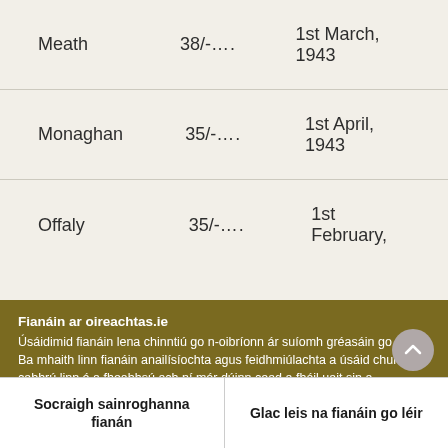| County | Rate | Date |
| --- | --- | --- |
| Meath | 38/-.... | 1st March, 1943 |
| Monaghan | 35/-.... | 1st April, 1943 |
| Offaly | 35/-.... | 1st February, |
Fianáin ar oireachtas.ie
Úsáidimid fianáin lena chinntiú go n-oibríonn ár suíomh gréasáin go maith. Ba mhaith linn fianáin anailísíochta agus feidhmiúlachta a úsáid chun cabhrú linn é a fheabhsú ach ní mór dúinn cead a fháil uait sin a dhéanamh. Mura bhfuil tú sásta cead a thabhairt, ní úsáidfear ach fianáin riachtanacha. Léigh tuileadh faoinár bhfianáin
Socraigh sainroghanna fianán
Glac leis na fianáin go léir